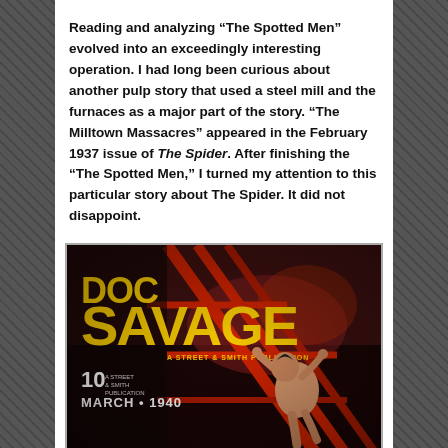Reading and analyzing “The Spotted Men” evolved into an exceedingly interesting operation. I had long been curious about another pulp story that used a steel mill and the furnaces as a major part of the story. “The Milltown Massacres” appeared in the February 1937 issue of The Spider. After finishing the “The Spotted Men,” I turned my attention to this particular story about The Spider. It did not disappoint.
[Figure (illustration): Doc Savage pulp magazine cover, March 1940. Large yellow text reads 'DOC SAVAGE' with 'A STREET & SMITH PUBLICATION' below. '10 cents' and 'MARCH • 1940' on the left side. Dark dramatic background with a figure climbing or hanging on red scaffolding/girders.]